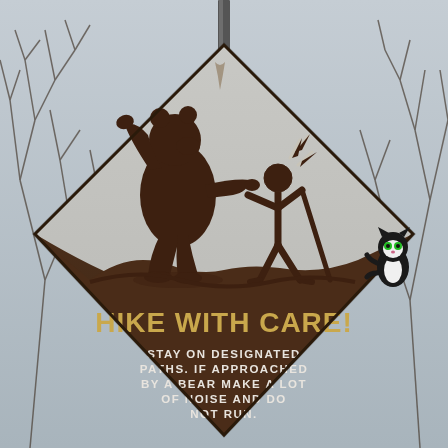[Figure (photo): Outdoor warning sign on a metal post, diamond-shaped, brown and tan/gold colors. Shows silhouette of a bear standing upright facing a stick-figure hiker (with impact lines indicating noise/alarm). Bottom half of sign has brown background with gold text reading 'HIKE WITH CARE!' and white text reading 'STAY ON DESIGNATED PATHS. IF APPROACHED BY A BEAR MAKE A LOT OF NOISE AND DO NOT RUN.' A stuffed black-and-white cat toy is visible clinging to the right edge of the sign. Background shows bare winter trees against a grey sky.]